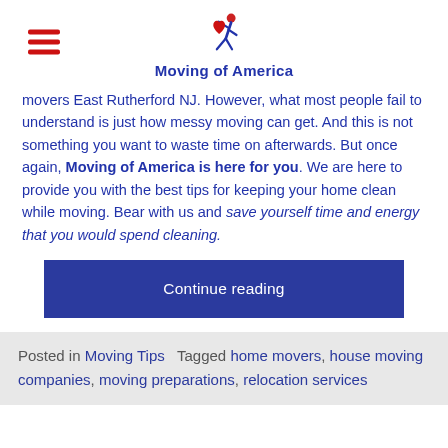Moving of America
movers East Rutherford NJ. However, what most people fail to understand is just how messy moving can get. And this is not something you want to waste time on afterwards. But once again, Moving of America is here for you. We are here to provide you with the best tips for keeping your home clean while moving. Bear with us and save yourself time and energy that you would spend cleaning.
Continue reading
Posted in Moving Tips   Tagged home movers, house moving companies, moving preparations, relocation services